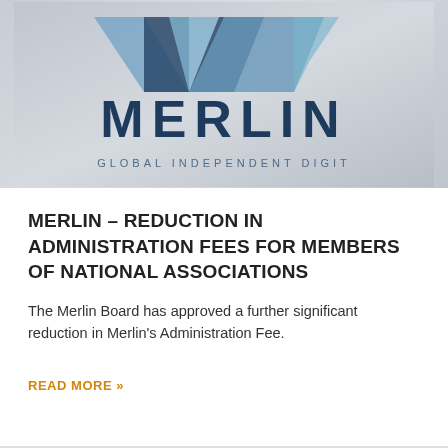[Figure (logo): Merlin logo on grey gradient background. Shows a stylized double-M letter mark in blues and dark navy, with 'MERLIN' in large dark navy letters below, and partially visible tagline 'GLOBAL INDEPENDENT DIGIT...' at the bottom edge.]
MERLIN – REDUCTION IN ADMINISTRATION FEES FOR MEMBERS OF NATIONAL ASSOCIATIONS
The Merlin Board has approved a further significant reduction in Merlin's Administration Fee.
READ MORE »